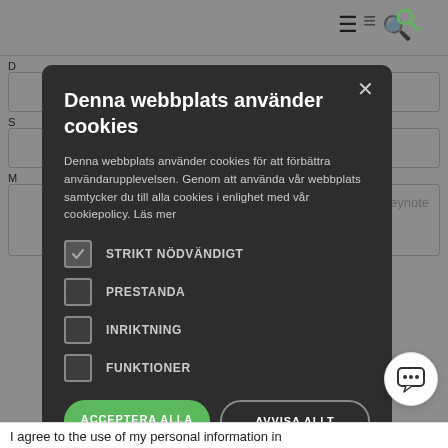[Figure (screenshot): Background website with navigation hamburger menu and search icon, form fields, and footer text]
Denna webbplats använder cookies
Denna webbplats använder cookies för att förbättra användarupplevelsen. Genom att använda vår webbplats samtycker du till alla cookies i enlighet med vår cookiepolicy. Läs mer
STRIKT NÖDVÄNDIGT
PRESTANDA
INRIKTNING
FUNKTIONER
ACCEPTERA ALLA
AVVISA ALLT
I agree to the use of my personal information in